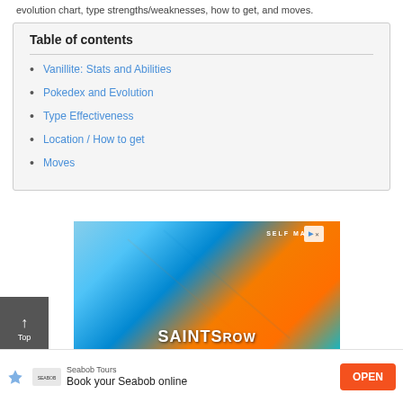evolution chart, type strengths/weaknesses, how to get, and moves.
| Table of contents |
| --- |
| Vanillite: Stats and Abilities |
| Pokedex and Evolution |
| Type Effectiveness |
| Location / How to get |
| Moves |
[Figure (photo): Advertisement image for Saints Row video game showing action characters with text 'SELF MADE' and 'SAINTS ROW' at the bottom, with an AdChoices icon in the top right corner.]
[Figure (infographic): Bottom banner advertisement for Seabob Tours with logo, text 'Book your Seabob online' and an orange OPEN button.]